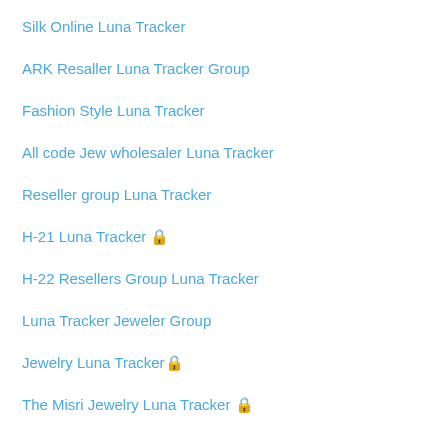Silk Online Luna Tracker
ARK Resaller Luna Tracker Group
Fashion Style Luna Tracker
All code Jew wholesaler Luna Tracker
Reseller group Luna Tracker
H-21 Luna Tracker 🔒
H-22 Resellers Group Luna Tracker
Luna Tracker Jeweler Group
Jewelry Luna Tracker🔒
The Misri Jewelry Luna Tracker 🔒